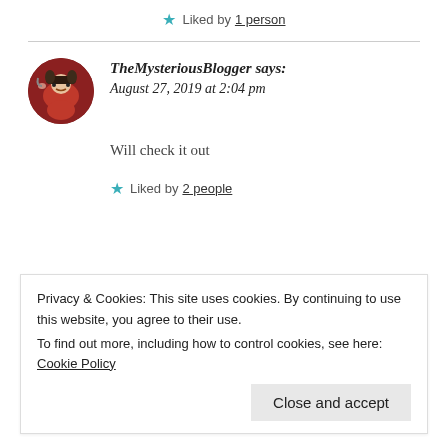★ Liked by 1 person
TheMysteriousBlogger says:
August 27, 2019 at 2:04 pm
Will check it out
★ Liked by 2 people
Privacy & Cookies: This site uses cookies. By continuing to use this website, you agree to their use.
To find out more, including how to control cookies, see here: Cookie Policy
Close and accept